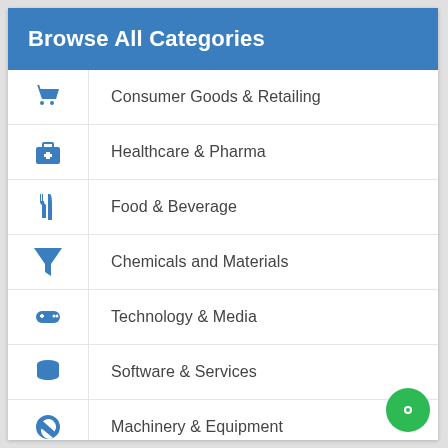Browse All Categories
Consumer Goods & Retailing
Healthcare & Pharma
Food & Beverage
Chemicals and Materials
Technology & Media
Software & Services
Machinery & Equipment
Manufacturing & Construction
Defense & Aerospace
Electronics & Semiconductor
Energy & Mining